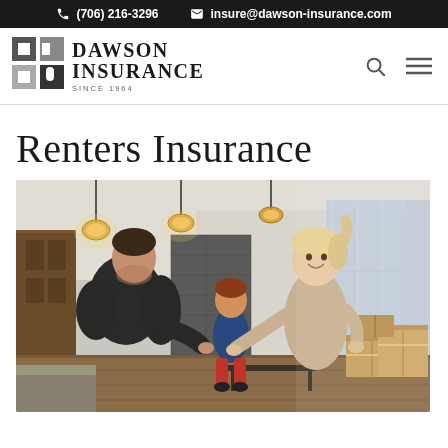(706) 216-3296  insure@dawson-insurance.com
[Figure (logo): Dawson Insurance logo with stylized D icon, text DAWSON INSURANCE SINCE 1964]
Renters Insurance
[Figure (photo): A family (man, child, and woman) standing in a modern apartment living room with moving boxes, pendant lights overhead, looking at each other and talking]